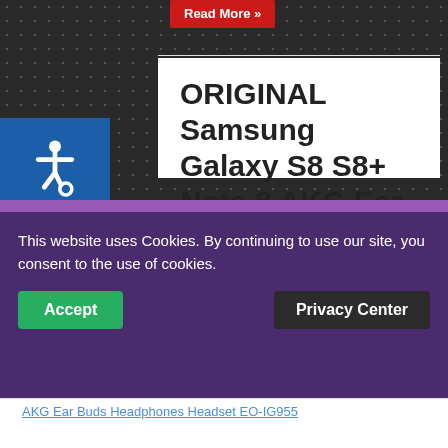[Figure (other): Red 'Read More »' button at top of page]
[Figure (other): Blue accessibility icon box with wheelchair symbol]
ORIGINAL Samsung Galaxy S8 S8+ Note 8 AKG Ear Buds Headphones Headset EO-IG955
March 25, 2018   Comments Off
ATTENTION REQ
This website uses Cookies. By continuing to use our site, you consent to the use of cookies.
Accept
Privacy Center
AKG Ear Buds Headphones Headset EO-IG955